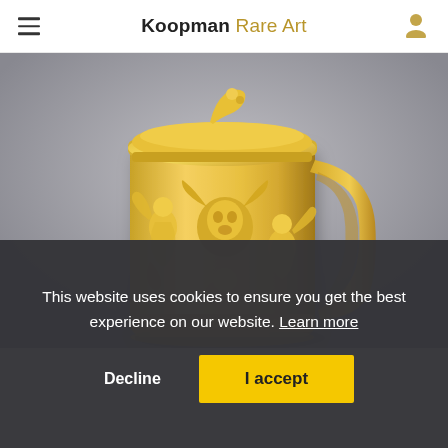Koopman Rare Art
[Figure (photo): A highly ornate gold-gilt silver tankard/mug with a hinged lid decorated with relief figures, a goat head, cherubs, and foliate motifs. The handle and finial are also elaborately decorated. Photographed against a neutral grey background.]
This website uses cookies to ensure you get the best experience on our website. Learn more
Decline
I accept